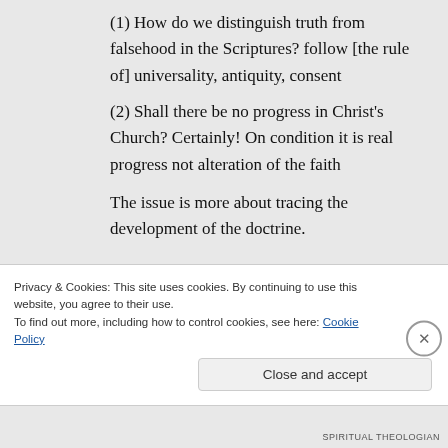(1) How do we distinguish truth from falsehood in the Scriptures? follow [the rule of] universality, antiquity, consent
(2) Shall there be no progress in Christ's Church? Certainly! On condition it is real progress not alteration of the faith
The issue is more about tracing the development of the doctrine.
Privacy & Cookies: This site uses cookies. By continuing to use this website, you agree to their use.
To find out more, including how to control cookies, see here: Cookie Policy
Close and accept